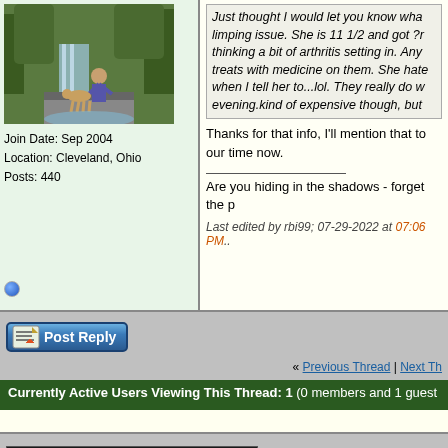[Figure (photo): User avatar photo showing a person near a waterfall in a forest setting]
Join Date: Sep 2004
Location: Cleveland, Ohio
Posts: 440
Just thought I would let you know wha limping issue. She is 11 1/2 and got ?r thinking a bit of arthritis setting in. Any treats with medicine on them. She hate when I tell her to...lol. They really do w evening.kind of expensive though, but
Thanks for that info, I'll mention that to our time now.
Are you hiding in the shadows - forget the p
Last edited by rbi99; 07-29-2022 at 07:06 PM..
Post Reply
« Previous Thread | Next Th
Currently Active Users Viewing This Thread: 1 (0 members and 1 guest
Posting Rules
You may not post new threads
You may not post replies
You may not post attachments